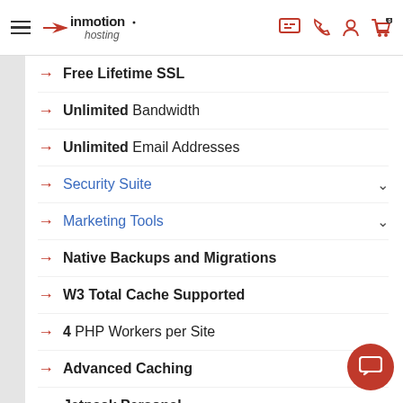InMotion Hosting
Free Lifetime SSL
Unlimited Bandwidth
Unlimited Email Addresses
Security Suite
Marketing Tools
Native Backups and Migrations
W3 Total Cache Supported
4 PHP Workers per Site
Advanced Caching
Jetpack Personal
Dedicated Opcode Cache Pool